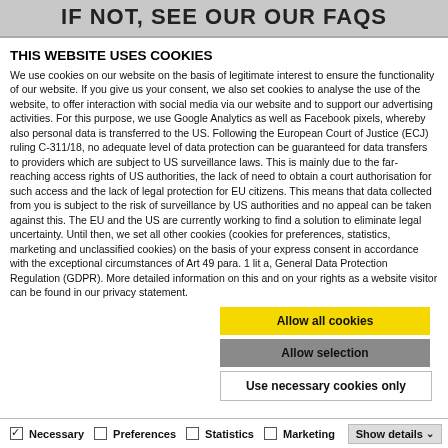IF NOT, SEE OUR OUR FAQS
THIS WEBSITE USES COOKIES
We use cookies on our website on the basis of legitimate interest to ensure the functionality of our website. If you give us your consent, we also set cookies to analyse the use of the website, to offer interaction with social media via our website and to support our advertising activities. For this purpose, we use Google Analytics as well as Facebook pixels, whereby also personal data is transferred to the US. Following the European Court of Justice (ECJ) ruling C-311/18, no adequate level of data protection can be guaranteed for data transfers to providers which are subject to US surveillance laws. This is mainly due to the far-reaching access rights of US authorities, the lack of need to obtain a court authorisation for such access and the lack of legal protection for EU citizens. This means that data collected from you is subject to the risk of surveillance by US authorities and no appeal can be taken against this. The EU and the US are currently working to find a solution to eliminate legal uncertainty. Until then, we set all other cookies (cookies for preferences, statistics, marketing and unclassified cookies) on the basis of your express consent in accordance with the exceptional circumstances of Art 49 para. 1 lit a, General Data Protection Regulation (GDPR). More detailed information on this and on your rights as a website visitor can be found in our privacy statement.
Allow all cookies
Allow selection
Use necessary cookies only
Necessary  Preferences  Statistics  Marketing  Show details